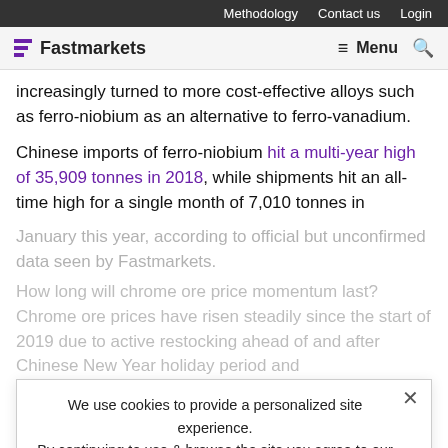Methodology   Contact us   Login
Fastmarkets   Menu
increasingly turned to more cost-effective alloys such as ferro-niobium as an alternative to ferro-vanadium.
Chinese imports of ferro-niobium hit a multi-year high of 35,909 tonnes in 2018, while shipments hit an all-time high for a single month of 7,010 tonnes in
January this year, according to official but unconfirmed data seen by Fastmarkets.
How long will chrome ore price momentum last? Chrome ore prices have risen steadily since the start of 2019 due to active restocking ahead of and after Chinese New Year holiday period and
We use cookies to provide a personalized site experience. By continuing to use & browse the site you agree to our Privacy Policy.
Proceed
some support.